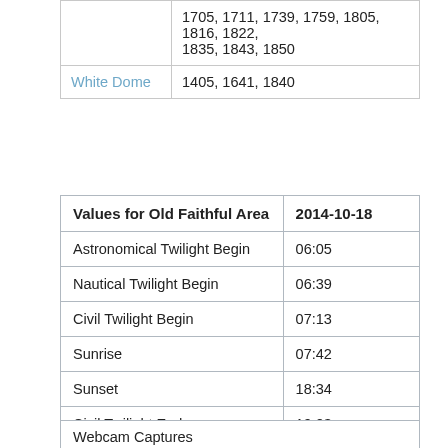|  |  |
| --- | --- |
|  | 1705, 1711, 1739, 1759, 1805, 1816, 1822, 1835, 1843, 1850 |
| White Dome | 1405, 1641, 1840 |
| Values for Old Faithful Area | 2014-10-18 |
| --- | --- |
| Astronomical Twilight Begin | 06:05 |
| Nautical Twilight Begin | 06:39 |
| Civil Twilight Begin | 07:13 |
| Sunrise | 07:42 |
| Sunset | 18:34 |
| Civil Twilight End | 19:03 |
| Nautical Twilight End | 19:37 |
| Astronomical Twilight End | 20:11 |
| Moon Illumination | 27.66% |
Webcam Captures